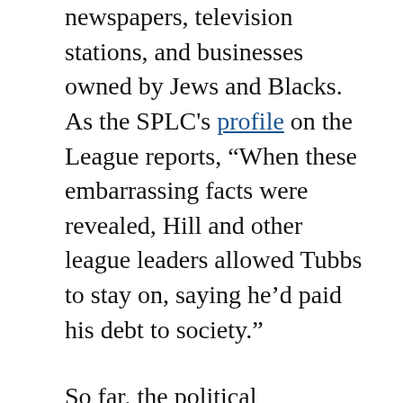newspapers, television stations, and businesses owned by Jews and Blacks. As the SPLC's profile on the League reports, “When these embarrassing facts were revealed, Hill and other league leaders allowed Tubbs to stay on, saying he’d paid his debt to society.”
So far, the political community has been eerily silent about the explicitly violent intentions of the emerging Peroutka faction of American public life. Hill’s recent call for the formation of death squads has been reported only by Jonathan Hutson at the Huffington Post and Van Smith at the Baltimore City Paper. This explicit and specific call for violence